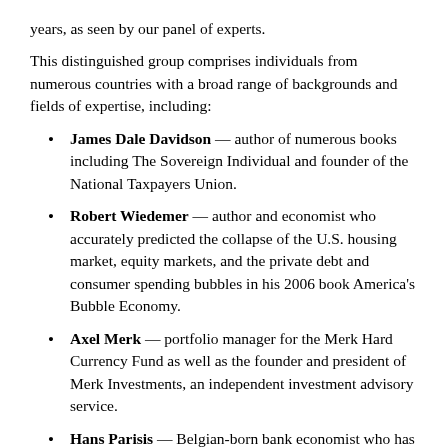years, as seen by our panel of experts.
This distinguished group comprises individuals from numerous countries with a broad range of backgrounds and fields of expertise, including:
James Dale Davidson — author of numerous books including The Sovereign Individual and founder of the National Taxpayers Union.
Robert Wiedemer — author and economist who accurately predicted the collapse of the U.S. housing market, equity markets, and the private debt and consumer spending bubbles in his 2006 book America's Bubble Economy.
Axel Merk — portfolio manager for the Merk Hard Currency Fund as well as the founder and president of Merk Investments, an independent investment advisory service.
Hans Parisis — Belgian-born bank economist who has advised global billionaires and governments on the financial markets and